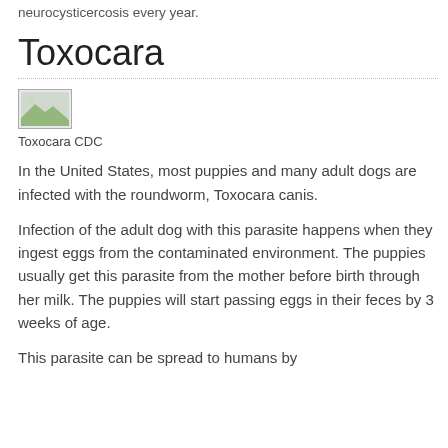neurocysticercosis every year.
Toxocara
[Figure (photo): Toxocara image placeholder]
Toxocara CDC
In the United States, most puppies and many adult dogs are infected with the roundworm, Toxocara canis.
Infection of the adult dog with this parasite happens when they ingest eggs from the contaminated environment. The puppies usually get this parasite from the mother before birth through her milk. The puppies will start passing eggs in their feces by 3 weeks of age.
This parasite can be spread to humans by